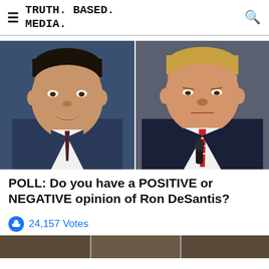TRUTH. BASED. MEDIA.
[Figure (photo): Side-by-side photos of Ron DeSantis (left, smiling in navy suit with dark tie) and Donald Trump (right, serious expression in navy suit with red/white striped tie and microphone)]
POLL: Do you have a POSITIVE or NEGATIVE opinion of Ron DeSantis?
24,157 Votes
[Figure (photo): Partial bottom image, cropped]